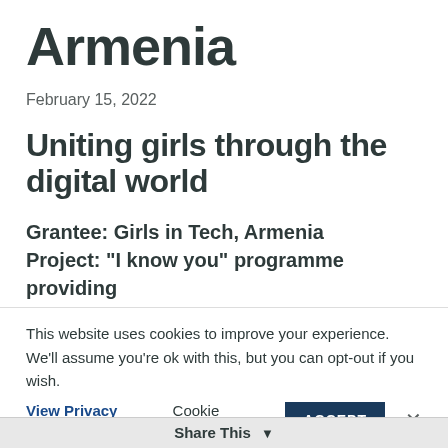Armenia
February 15, 2022
Uniting girls through the digital world
Grantee: Girls in Tech, Armenia
Project: “I know you” programme providing digital skills and access for…
This website uses cookies to improve your experience. We’ll assume you’re ok with this, but you can opt-out if you wish.
View Privacy Policy   Cookie settings   ACCEPT   ×
Share This ▾